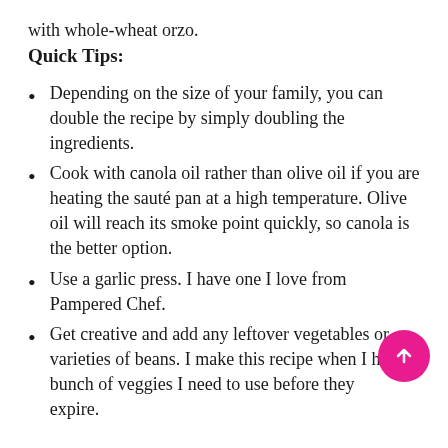with whole-wheat orzo.
Quick Tips:
Depending on the size of your family, you can double the recipe by simply doubling the ingredients.
Cook with canola oil rather than olive oil if you are heating the sauté pan at a high temperature. Olive oil will reach its smoke point quickly, so canola is the better option.
Use a garlic press. I have one I love from Pampered Chef.
Get creative and add any leftover vegetables or varieties of beans. I make this recipe when I have a bunch of veggies I need to use before they expire.